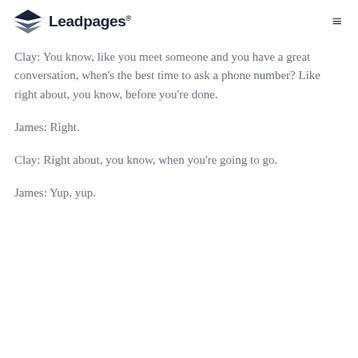Leadpages
Clay: You know, like you meet someone and you have a great conversation, when's the best time to ask a phone number? Like right about, you know, before you're done.
James: Right.
Clay: Right about, you know, when you're going to go.
James: Yup, yup.